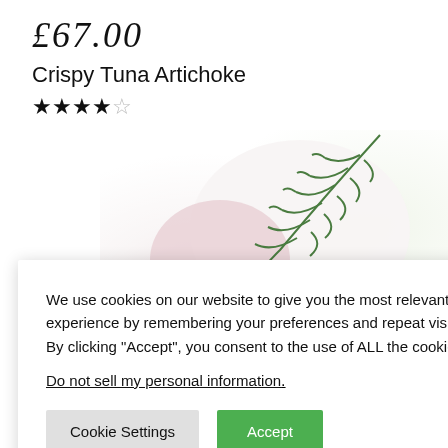£67.00
Crispy Tuna Artichoke
★★★★☆
[Figure (photo): Close-up food photo showing artichoke/tuna dish with fresh dill herb garnish, blurred background with red and white food elements]
We use cookies on our website to give you the most relevant experience by remembering your preferences and repeat visits. By clicking "Accept", you consent to the use of ALL the cookies.
Do not sell my personal information.
Cookie Settings
Accept
Italian
Wraps